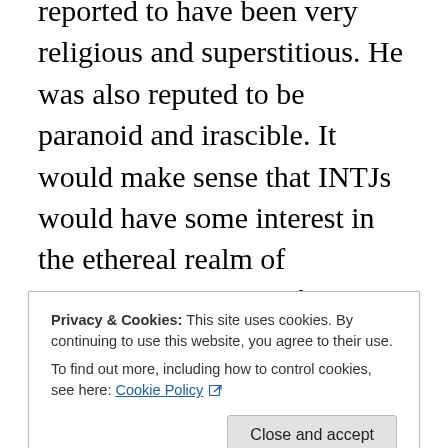reported to have been very religious and superstitious. He was also reputed to be paranoid and irascible. It would make sense that INTJs would have some interest in the ethereal realm of spirituality because of their introverted intuition. Ni would be inclined to interpret the significance of events on a symbolic and metaphysical level. There are many things in the world that cannot yet be explained and for many things the possibility of a “god” is still on the table. Ni doesn’t always get it right and sometimes the INTJ connects dots that are not meant to be connected. At their worst, they can become like conspiracy theorists buying into intriguing but
Privacy & Cookies: This site uses cookies. By continuing to use this website, you agree to their use.
To find out more, including how to control cookies, see here: Cookie Policy
The Death Stare